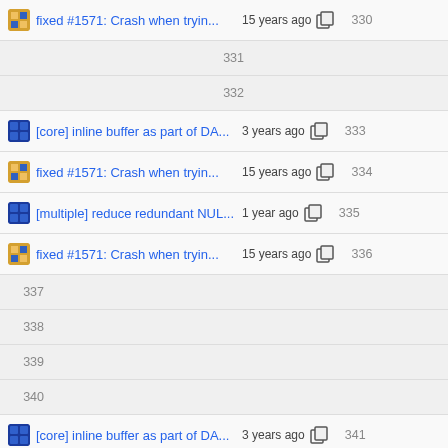fixed #1571: Crash when tryin... 15 years ago  330
331
332
[core] inline buffer as part of DA... 3 years ago  333
fixed #1571: Crash when tryin... 15 years ago  334
[multiple] reduce redundant NUL... 1 year ago  335
fixed #1571: Crash when tryin... 15 years ago  336
337
338
339
340
[core] inline buffer as part of DA... 3 years ago  341
fixed #1571: Crash when tryin... 15 years ago  342
343
merge [109], [259], [266] and ... 18 years ago  344
moved everything below trunk... 18 years ago  345
leak fixes git-svn-id: svn://svn.l... 17 years ago  346
[core] more memory-efficient fn... 4 years ago  347
[core] configparser: fix resource... 5 years ago  348
moved everything below trunk... 18 years ago  349